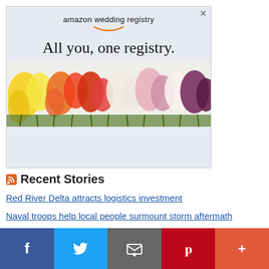[Figure (advertisement): Amazon Wedding Registry ad with tagline 'All you, one registry.' and colorful flowers arranged in a rainbow across the bottom. Amazon smile logo shown beneath the brand name.]
Recent Stories
Red River Delta attracts logistics investment
Naval troops help local people surmount storm aftermath
[Figure (infographic): Social media sharing bar with Facebook, Twitter, Email, Pinterest, and More (+) buttons in their respective brand colors.]